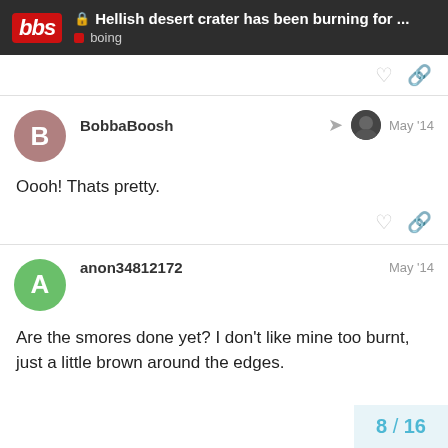Hellish desert crater has been burning for ... — boing
BobbaBoosh — May '14
Oooh! Thats pretty.
anon34812172 — May '14
Are the smores done yet? I don't like mine too burnt, just a little brown around the edges.
8 / 16